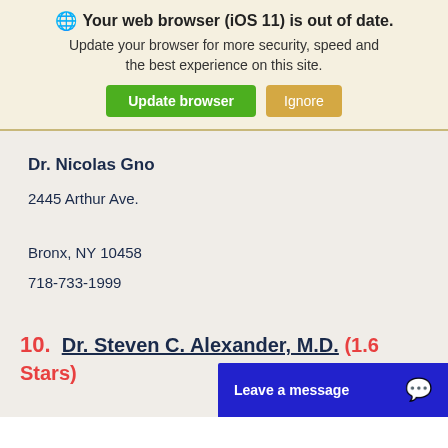🌐 Your web browser (iOS 11) is out of date. Update your browser for more security, speed and the best experience on this site. Update browser | Ignore
Dr. Nicolas Gno
2445 Arthur Ave.
Bronx, NY 10458
718-733-1999
10. Dr. Steven C. Alexander, M.D. (1.6 Stars)
[Figure (screenshot): Leave a message chat widget button in blue]